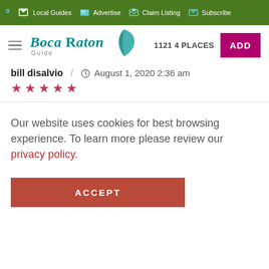Local Guides  Advertise  Claim Listing  Subscribe
[Figure (logo): Boca Raton Guide logo with teal leaf/sailfish icon and teal italic text]
11214 PLACES  ADD
bill disalvio / August 1, 2020 2:36 am
★ ★ ★ ★ ★
Our website uses cookies for best browsing experience. To learn more please review our privacy policy.
ACCEPT